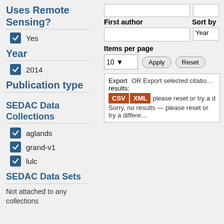Uses Remote Sensing?
Yes (checked)
Year
2014 (checked)
Publication type
SEDAC Data Collections
aglands (checked)
grand-v1 (checked)
lulc (checked)
SEDAC Data Sets
Not attached to any collections
First author
Sort by
Year
Items per page
10
Apply
Reset
Export results: CSV XML
OR Export selected citations u...
Sorry, no results — please reset or try a differe...